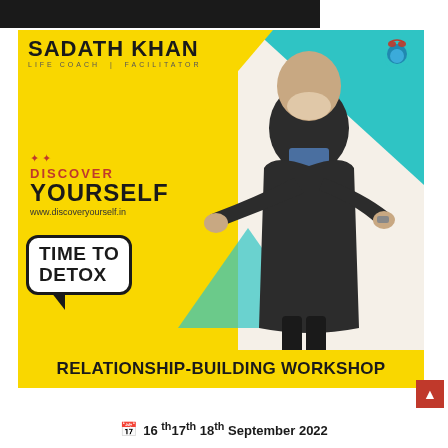[Figure (photo): Promotional poster for a Relationship-Building Workshop by Sadath Khan, Life Coach and Facilitator, featuring 'Discover Yourself' branding, 'Time To Detox' speech bubble, and a photograph of Sadath Khan in a dark suit pointing at the viewer. Yellow and teal geometric background.]
RELATIONSHIP-BUILDING WORKSHOP
16th 17th 18th September 2022